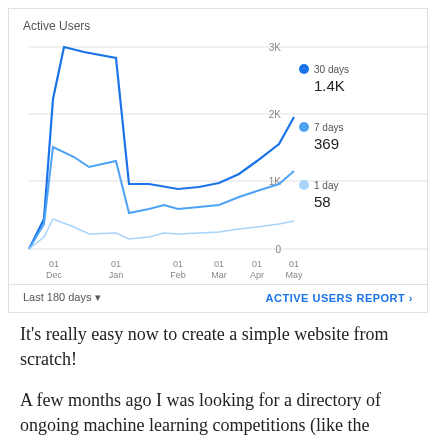[Figure (line-chart): Active Users]
It's really easy now to create a simple website from scratch!
A few months ago I was looking for a directory of ongoing machine learning competitions (like the